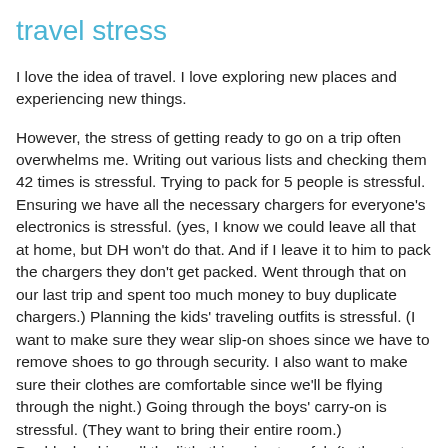travel stress
I love the idea of travel. I love exploring new places and experiencing new things.
However, the stress of getting ready to go on a trip often overwhelms me. Writing out various lists and checking them 42 times is stressful. Trying to pack for 5 people is stressful. Ensuring we have all the necessary chargers for everyone's electronics is stressful. (yes, I know we could leave all that at home, but DH won't do that. And if I leave it to him to pack the chargers they don't get packed. Went through that on our last trip and spent too much money to buy duplicate chargers.) Planning the kids' traveling outfits is stressful. (I want to make sure they wear slip-on shoes since we have to remove shoes to go through security. I also want to make sure their clothes are comfortable since we'll be flying through the night.) Going through the boys' carry-on is stressful. (They want to bring their entire room.) Doublechecking all the little things is stressful. (Is the gate locked? Is the garage door opener disabled? Are the